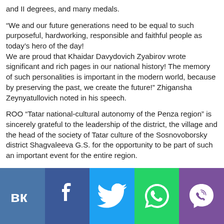and II degrees, and many medals.
“We and our future generations need to be equal to such purposeful, hardworking, responsible and faithful people as today’s hero of the day! We are proud that Khaidar Davydovich Zyabirov wrote significant and rich pages in our national history! The memory of such personalities is important in the modern world, because by preserving the past, we create the future!” Zhigansha Zeynyatullovich noted in his speech.
ROO “Tatar national-cultural autonomy of the Penza region” is sincerely grateful to the leadership of the district, the village and the head of the society of Tatar culture of the Sosnovoborsky district Shagvaleeva G.S. for the opportunity to be part of such an important event for the entire region.
[Figure (infographic): Social media share bar with icons for VK, Facebook, Twitter, WhatsApp, and Viber on colored backgrounds]